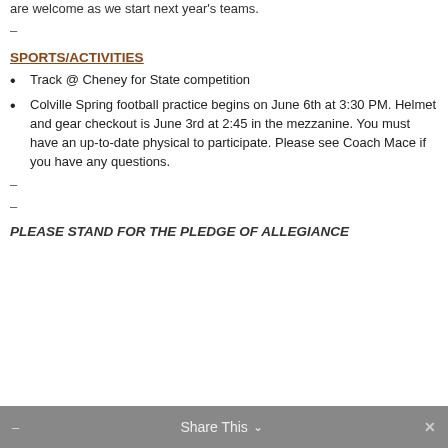are welcome as we start next year's teams.
-
SPORTS/ACTIVITIES
Track @ Cheney for State competition
Colville Spring football practice begins on June 6th at 3:30 PM. Helmet and gear checkout is June 3rd at 2:45 in the mezzanine. You must have an up-to-date physical to participate. Please see Coach Mace if you have any questions.
-
-
PLEASE STAND FOR THE PLEDGE OF ALLEGIANCE
- Share This ∨ ✕